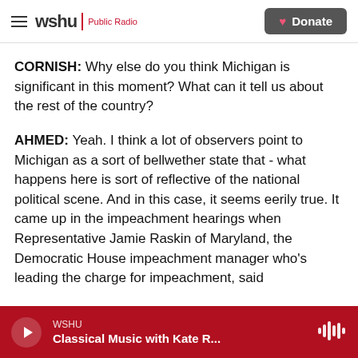wshu | Public Radio   Donate
CORNISH: Why else do you think Michigan is significant in this moment? What can it tell us about the rest of the country?
AHMED: Yeah. I think a lot of observers point to Michigan as a sort of bellwether state that - what happens here is sort of reflective of the national political scene. And in this case, it seems eerily true. It came up in the impeachment hearings when Representative Jamie Raskin of Maryland, the Democratic House impeachment manager who's leading the charge for impeachment, said
WSHU  Classical Music with Kate R...